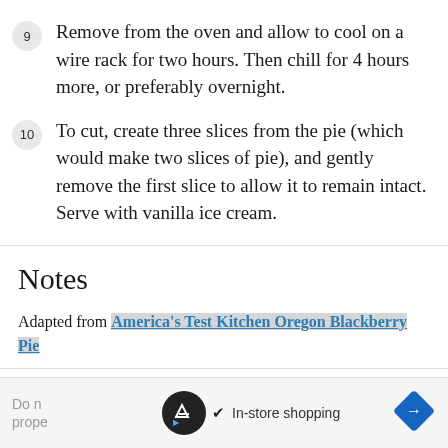9 Remove from the oven and allow to cool on a wire rack for two hours. Then chill for 4 hours more, or preferably overnight.
10 To cut, create three slices from the pie (which would make two slices of pie), and gently remove the first slice to allow it to remain intact. Serve with vanilla ice cream.
Notes
Adapted from America’s Test Kitchen Oregon Blackberry Pie
Do n... prope...